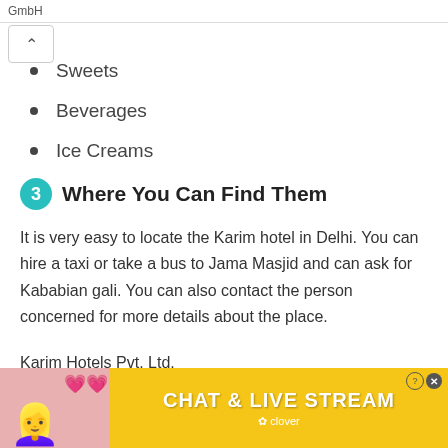GmbH
Sweets
Beverages
Ice Creams
3 Where You Can Find Them
It is very easy to locate the Karim hotel in Delhi. You can hire a taxi or take a bus to Jama Masjid and can ask for Kababian gali. You can also contact the person concerned for more details about the place.
Karim Hotels Pvt. Ltd.
Contact Person: Mr. Zaeemuddin Ahmed/Mr Zainulabedin
Addre
[Figure (infographic): Advertisement banner for 'Chat & Live Stream' by Clover with a woman photo and heart emojis, yellow background, with close/info buttons]